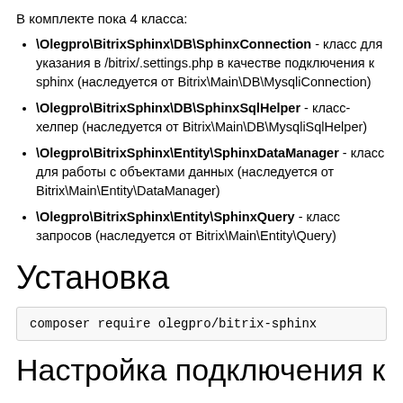В комплекте пока 4 класса:
\Olegpro\BitrixSphinx\DB\SphinxConnection - класс для указания в /bitrix/.settings.php в качестве подключения к sphinx (наследуется от Bitrix\Main\DB\MysqliConnection)
\Olegpro\BitrixSphinx\DB\SphinxSqlHelper - класс-хелпер (наследуется от Bitrix\Main\DB\MysqliSqlHelper)
\Olegpro\BitrixSphinx\Entity\SphinxDataManager - класс для работы с объектами данных (наследуется от Bitrix\Main\Entity\DataManager)
\Olegpro\BitrixSphinx\Entity\SphinxQuery - класс запросов (наследуется от Bitrix\Main\Entity\Query)
Установка
composer require olegpro/bitrix-sphinx
Настройка подключения к